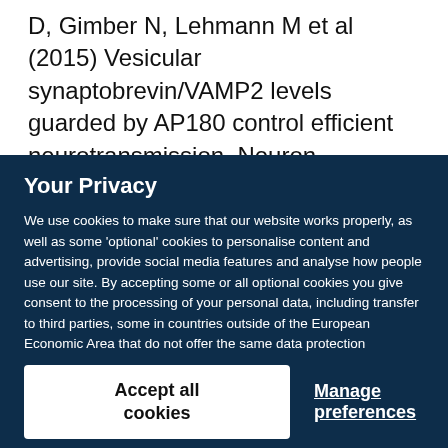D, Gimber N, Lehmann M et al (2015) Vesicular synaptobrevin/VAMP2 levels guarded by AP180 control efficient neurotransmission. Neuron
Your Privacy
We use cookies to make sure that our website works properly, as well as some ‘optional’ cookies to personalise content and advertising, provide social media features and analyse how people use our site. By accepting some or all optional cookies you give consent to the processing of your personal data, including transfer to third parties, some in countries outside of the European Economic Area that do not offer the same data protection standards as the country where you live. You can decide which optional cookies to accept by clicking on ‘Manage Settings’, where you can also find more information about how your personal data is processed. Further information can be found in our privacy policy.
Accept all cookies
Manage preferences